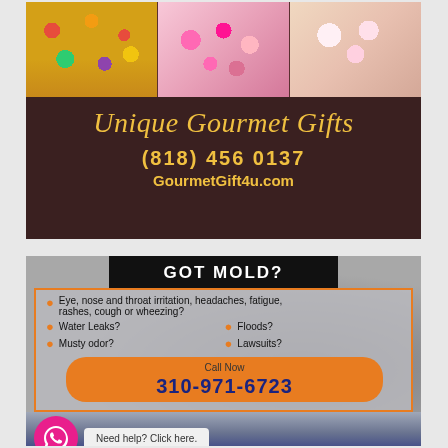[Figure (infographic): Advertisement for Unique Gourmet Gifts. Top section shows three photos of gift arrangements (fruit basket, heart-shaped flower arrangement, pink flower box). Bottom dark brown section has golden italic text 'Unique Gourmet Gifts', phone number '(818) 456 0137', and website 'GourmetGift4u.com'.]
[Figure (infographic): Advertisement for a mold remediation service. Header 'GOT MOLD?' in white on black background. Lists symptoms: Eye/nose/throat irritation, headaches, fatigue, rashes, cough or wheezing; Water Leaks; Musty odor; Floods; Lawsuits. Orange CTA button with 'Call Now' and phone '310-971-6723'. WhatsApp bubble saying 'Need help? Click here.' Bottom text: 'healthyindoorprofessionals.com']